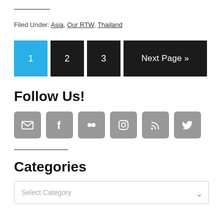Filed Under: Asia, Our RTW, Thailand
[Figure (other): Pagination buttons: 1 (active, blue), 2, 3, Next Page »]
Follow Us!
[Figure (other): Six social media icon buttons: email, Facebook, Flickr, Instagram, RSS, Twitter]
Categories
[Figure (other): Select Category dropdown box]